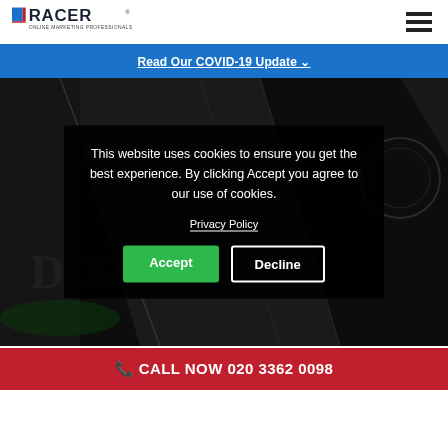RACER Online Marketing Professionals
Read Our COVID-19 Update
[Figure (screenshot): Dark background hero image showing a car dashboard/interior with angular dark shapes and chrome accents, with a cookie consent modal overlay]
This website uses cookies to ensure you get the best experience. By clicking Accept you agree to our use of cookies.
Privacy Policy
Accept
Decline
CALL NOW 020 3362 0098